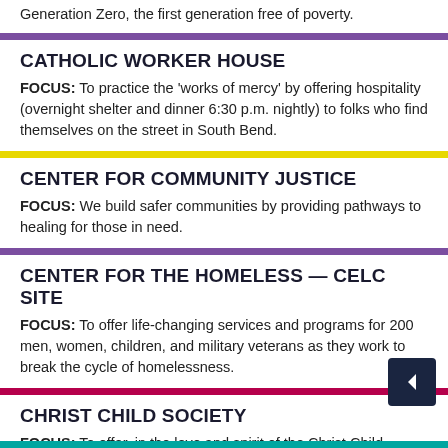Generation Zero, the first generation free of poverty.
CATHOLIC WORKER HOUSE
FOCUS: To practice the 'works of mercy' by offering hospitality (overnight shelter and dinner 6:30 p.m. nightly) to folks who find themselves on the street in South Bend.
CENTER FOR COMMUNITY JUSTICE
FOCUS: We build safer communities by providing pathways to healing for those in need.
CENTER FOR THE HOMELESS — CELC SITE
FOCUS: To offer life-changing services and programs for 200 men, women, children, and military veterans as they work to break the cycle of homelessness.
CHRIST CHILD SOCIETY
FOCUS: To offer, in the love and spirit of the Christ Child, personal service and clothing to all children and infants in need.